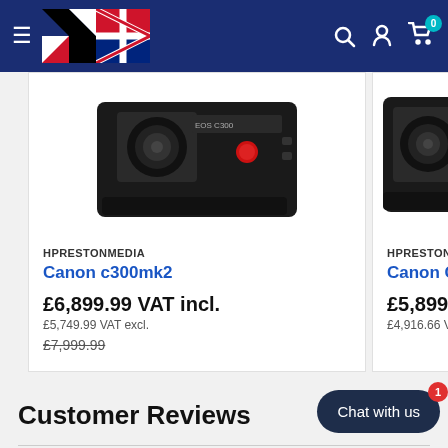[Figure (screenshot): E-commerce website navbar with hamburger menu, UK flag logo, search, account and cart (0) icons on dark blue background]
[Figure (photo): Canon EOS C300 Mark II cinema camera product photo, close-up of top/rear view showing red record button and label]
HPRESTONMEDIA
Canon c300mk2
£6,899.99 VAT incl.
£5,749.99 VAT excl.
£7,999.99
[Figure (photo): Canon C200 with 24-105mm lens product photo, partially visible on right side]
HPRESTONMEDIA
Canon C200 24-105m
£5,899.99 VAT incl.
£4,916.66 VAT excl.
Customer Reviews
Chat with us